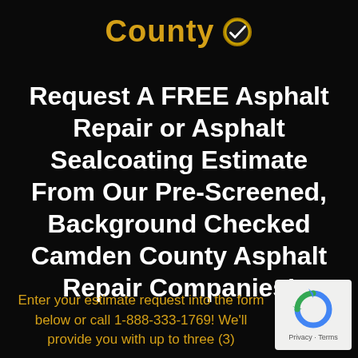County ✓
Request A FREE Asphalt Repair or Asphalt Sealcoating Estimate From Our Pre-Screened, Background Checked Camden County Asphalt Repair Companies!
Enter your estimate request into the form below or call 1-888-333-1769! We'll provide you with up to three (3)
[Figure (logo): reCAPTCHA badge with circular arrow logo and Privacy - Terms text]